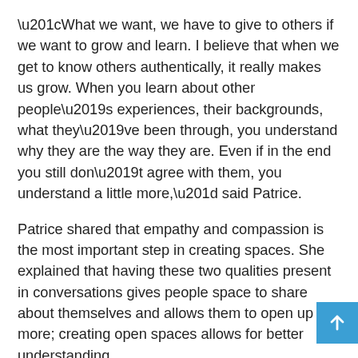“What we want, we have to give to others if we want to grow and learn. I believe that when we get to know others authentically, it really makes us grow. When you learn about other people’s experiences, their backgrounds, what they’ve been through, you understand why they are the way they are. Even if in the end you still don’t agree with them, you understand a little more,” said Patrice.
Patrice shared that empathy and compassion is the most important step in creating spaces. She explained that having these two qualities present in conversations gives people space to share about themselves and allows them to open up more; creating open spaces allows for better understanding.
Patrice recalls a conversation she had with a white man who was “openly racist”. With an open and transparent environment to talk to, Patrice learned that the man was often bullied in his youth by black people. Patrice thanked him and expressed his sadness to have lived this experience. She explained in her